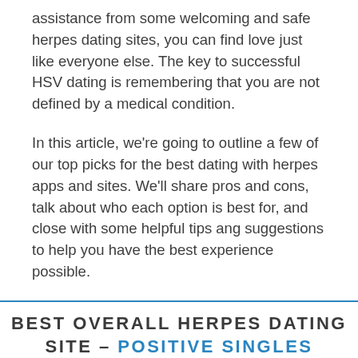assistance from some welcoming and safe herpes dating sites, you can find love just like everyone else. The key to successful HSV dating is remembering that you are not defined by a medical condition.
In this article, we're going to outline a few of our top picks for the best dating with herpes apps and sites. We'll share pros and cons, talk about who each option is best for, and close with some helpful tips ang suggestions to help you have the best experience possible.
BEST OVERALL HERPES DATING SITE – POSITIVE SINGLES